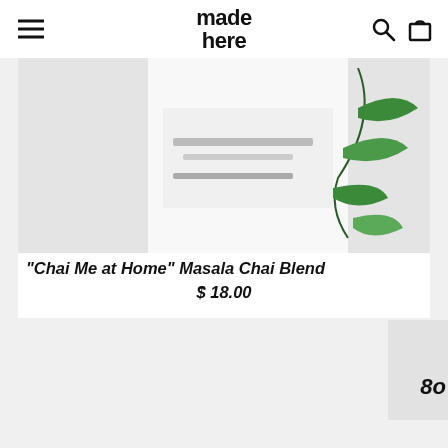made here
[Figure (photo): Product photo of 'Chai Me at Home' Masala Chai Blend tin/container with plant illustration and NET WT. 100g (3.5oz) label]
"Chai Me at Home" Masala Chai Blend
$ 18.00
[Figure (photo): Partially visible product card at right edge showing '8o' text fragment]